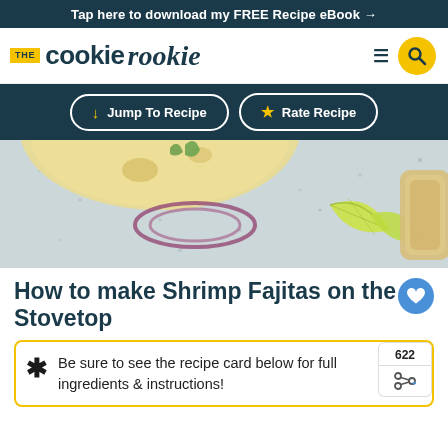Tap here to download my FREE Recipe eBook →
[Figure (logo): The Cookie Rookie logo with hamburger menu and search icon]
↓ Jump To Recipe   ★ Rate Recipe
[Figure (photo): Shrimp fajitas on stovetop with tortilla, red onion rings, lime wedges, and peppers on a marble surface]
How to make Shrimp Fajitas on the Stovetop
622
Be sure to see the recipe card below for full ingredients & instructions!